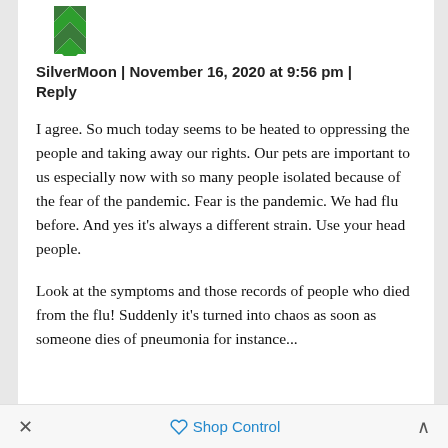[Figure (logo): Green geometric/quilt-pattern avatar icon for user SilverMoon]
SilverMoon | November 16, 2020 at 9:56 pm | Reply
I agree. So much today seems to be heated to oppressing the people and taking away our rights. Our pets are important to us especially now with so many people isolated because of the fear of the pandemic. Fear is the pandemic. We had flu before. And yes it’s always a different strain. Use your head people.
Look at the symptoms and those records of people who died from the flu! Suddenly it’s turned into chaos as soon as someone dies of pneumonia for instance...
×   💿 Shop Control   ∧